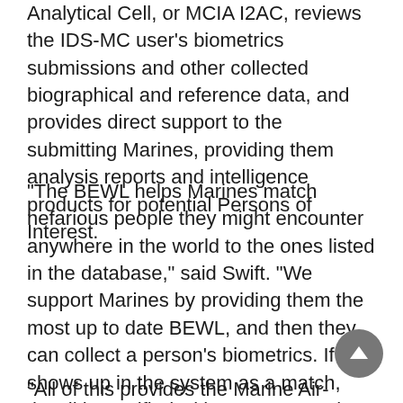Analytical Cell, or MCIA I2AC, reviews the IDS-MC user's biometrics submissions and other collected biographical and reference data, and provides direct support to the submitting Marines, providing them analysis reports and intelligence products for potential Persons of Interest.
“The BEWL helps Marines match nefarious people they might encounter anywhere in the world to the ones listed in the database,” said Swift. “We support Marines by providing them the most up to date BEWL, and then they can collect a person’s biometrics. If it shows up in the system as a match, they’ll be notified with a pop-up on the device.”
“All of this provides the Marine Air-Ground Task